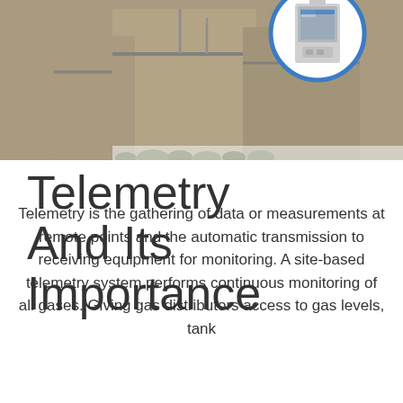[Figure (photo): Industrial gas storage tanks in background with pipelines; a device (telemetry unit) in a blue circle overlay in the top right corner]
Telemetry And Its Importance
Telemetry is the gathering of data or measurements at remote points and the automatic transmission to receiving equipment for monitoring. A site-based telemetry system performs continuous monitoring of all gases. Giving gas distributors access to gas levels, tank